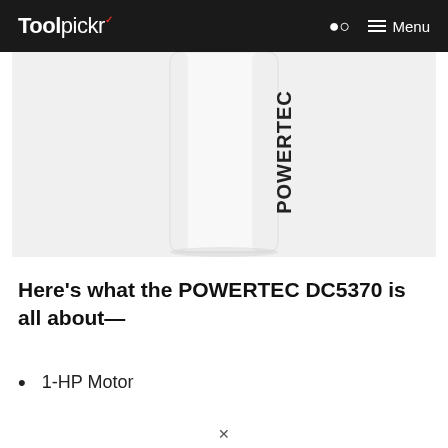Toolpickr  Menu
[Figure (photo): A white cylindrical POWERTEC DC5370 dust collector unit shown vertically with the POWERTEC logo text visible rotated along the side.]
Here's what the POWERTEC DC5370 is all about—
1-HP Motor